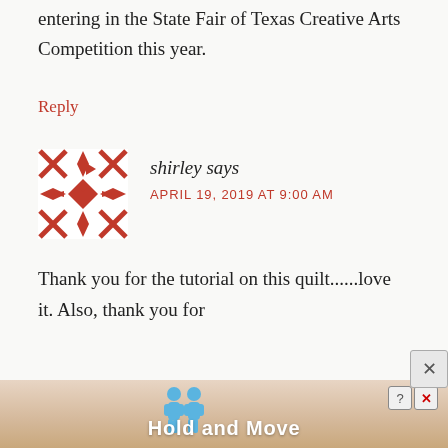entering in the State Fair of Texas Creative Arts Competition this year.
Reply
[Figure (illustration): Avatar icon for commenter shirley, red geometric quilt-pattern design with X and diamond shapes]
shirley says
APRIL 19, 2019 AT 9:00 AM
Thank you for the tutorial on this quilt......love it. Also, thank you for
[Figure (screenshot): Advertisement banner at bottom: two cartoon figures, text 'Hold and Move', with help and close icons]